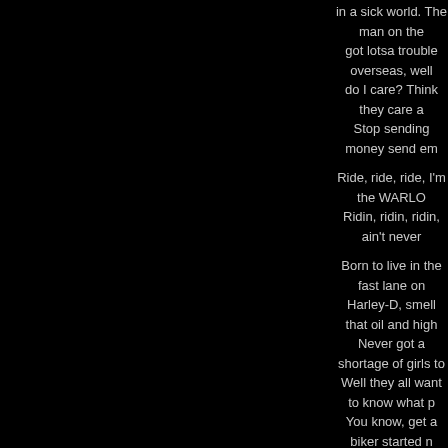in a sick world. The man on the got lotsa trouble overseas, well do I care? Think they care a Stop sending money send em
Ride, ride, ride, I'm the WARLO Ridin, ridin, ridin, ain't never
Born to live in the fast lane on Harley-D, smell that oil and high Never got a shortage of girls to Well they all want to know what p You know, get a biker started n damn night. Well hold on honey for a ride.
Ride, ride, ride, ride, ride, I'm the WARLORD of th Riding, ridin, ridin, ain't never
>>Back to top<<
Gloves Of M
Hear the pounding army of The call of metal summons And gather we on this To behold the power and